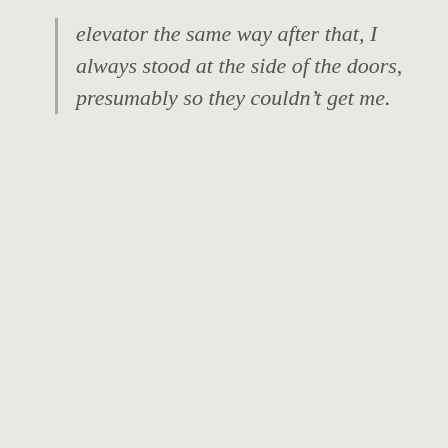elevator the same way after that, I always stood at the side of the doors, presumably so they couldn't get me.